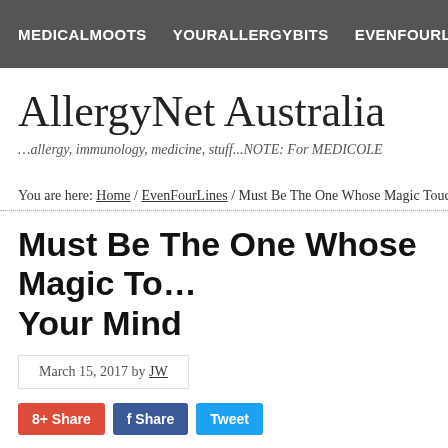MEDICALMOOTS   YOURALLERGYBITS   EVENFOURLINES   LIN…
AllergyNet Australia
…allergy, immunology, medicine, stuff...NOTE: For MEDICOLE…
You are here: Home / EvenFourLines / Must Be The One Whose Magic Touch Ca…
Must Be The One Whose Magic To… Your Mind
March 15, 2017 by JW
8+ Share   f Share   Tweet